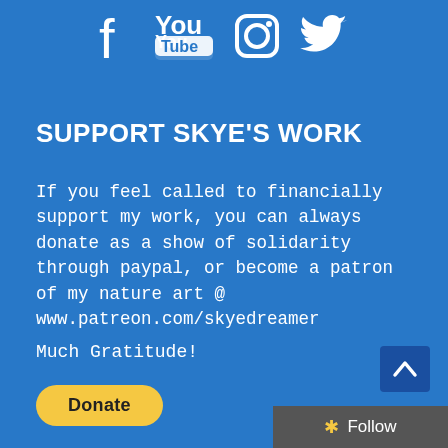[Figure (illustration): Social media icons: Facebook, YouTube, Instagram, Twitter in white on blue background]
SUPPORT SKYE'S WORK
If you feel called to financially support my work, you can always donate as a show of solidarity through paypal, or become a patron of my nature art @ www.patreon.com/skyedreamer
Much Gratitude!
[Figure (other): Yellow PayPal Donate button]
[Figure (other): Dark blue scroll-to-top arrow button]
[Figure (other): Grey Follow bar with star icon]